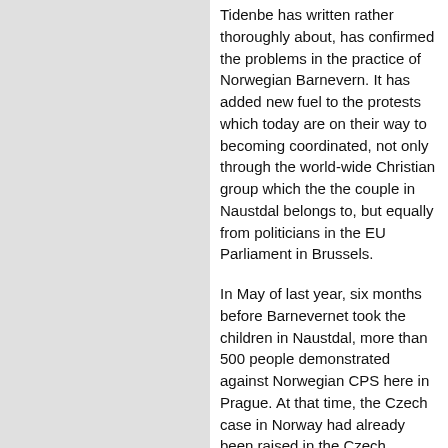Tidenbe has written rather thoroughly about, has confirmed the problems in the practice of Norwegian Barnevern. It has added new fuel to the protests which today are on their way to becoming coordinated, not only through the world-wide Christian group which the the couple in Naustdal belongs to, but equally from politicians in the EU Parliament in Brussels.
In May of last year, six months before Barnevernet took the children in Naustdal, more than 500 people demonstrated against Norwegian CPS here in Prague. At that time, the Czech case in Norway had already been raised in the Czech Parliament. In January, 700 took part in a similar demonstration. In January and February over 70,000 people demonstrated against Barnevernet in close to 40 cities all over the world. And even if the demonstrations have two concrete cases as their starting points, they have by now come to be directed against the practice of Barnevernet as such.
*
Barnevernet has become an international term of abuse. Both Czechs and Romanians have ceased translating the